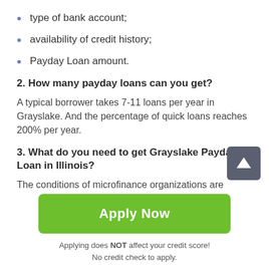type of bank account;
availability of credit history;
Payday Loan amount.
2. How many payday loans can you get?
A typical borrower takes 7-11 loans per year in Grayslake. And the percentage of quick loans reaches 200% per year.
3. What do you need to get Grayslake Payday Loan in Illinois?
The conditions of microfinance organizations are ambiguous. Some more carefully check borrowers, others
[Figure (other): Green 'Apply Now' button]
Applying does NOT affect your credit score!
No credit check to apply.